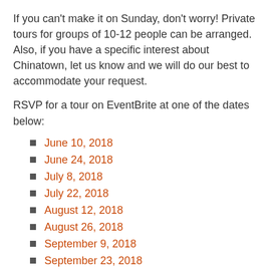If you can't make it on Sunday, don't worry! Private tours for groups of 10-12 people can be arranged. Also, if you have a specific interest about Chinatown, let us know and we will do our best to accommodate your request.
RSVP for a tour on EventBrite at one of the dates below:
June 10, 2018
June 24, 2018
July 8, 2018
July 22, 2018
August 12, 2018
August 26, 2018
September 9, 2018
September 23, 2018
Meet at the main entrance of the Shaw Conference Centre at 9797 Jasper Avenue and look for guides wearing “I ♥ Chinatown” t-shirts!